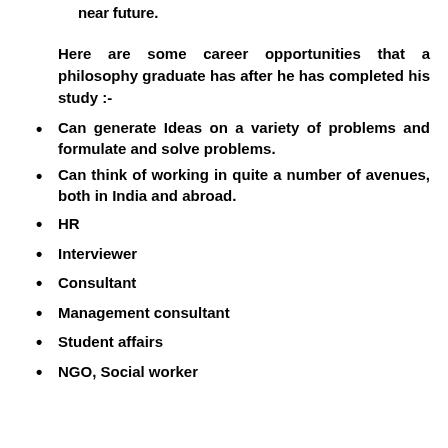near future.
Here are some career opportunities that a philosophy graduate has after he has completed his study :-
Can generate Ideas on a variety of problems and formulate and solve problems.
Can think of working in quite a number of avenues, both in India and abroad.
HR
Interviewer
Consultant
Management consultant
Student affairs
NGO, Social worker